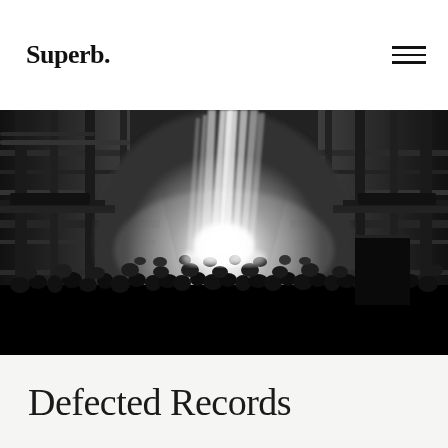Superb.
[Figure (photo): Black and white photograph of a large indoor music event or rave in an industrial warehouse venue. Tall beams of light shoot upward from the stage through haze, illuminating a dense crowd of people. The industrial architecture features exposed pipes, metal columns, and multi-level balconies on both sides.]
Defected Records